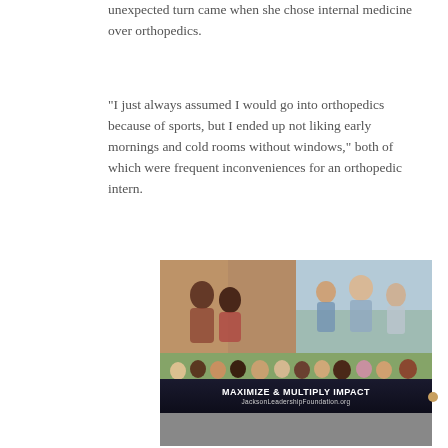unexpected turn came when she chose internal medicine over orthopedics.
“I just always assumed I would go into orthopedics because of sports, but I ended up not liking early mornings and cold rooms without windows,” both of which were frequent inconveniences for an orthopedic intern.
[Figure (photo): Collage of group photos including families and a team, with a dark banner overlay reading MAXIMIZE & MULTIPLY IMPACT and JacksonLeadershipFoundation.org]